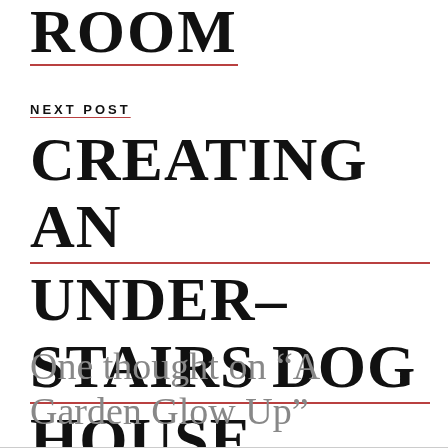ROOM
NEXT POST
CREATING AN UNDER-STAIRS DOG HOUSE
One thought on “A Garden Glow Up”